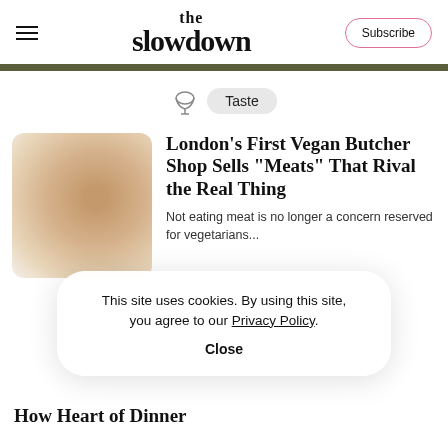the slowdown | Subscribe
Taste
[Figure (photo): Blurred warm-toned thumbnail image of food, brownish gradient]
London's First Vegan Butcher Shop Sells “Meats” That Rival the Real Thing
Not eating meat is no longer a concern reserved for vegetarians...
This site uses cookies. By using this site, you agree to our Privacy Policy. Close
How Heart of Dinner